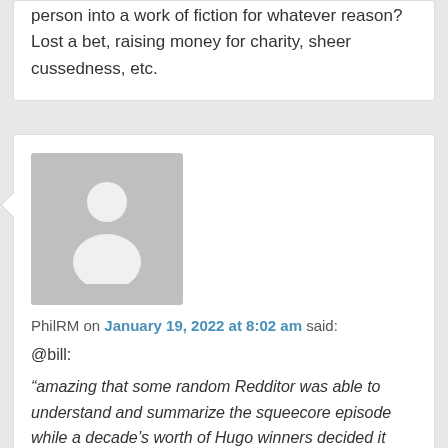person into a work of fiction for whatever reason? Lost a bet, raising money for charity, sheer cussedness, etc.
[Figure (illustration): Default user avatar — grey square with white person silhouette (head circle + body shape)]
PhilRM on January 19, 2022 at 8:02 am said:
@bill:
“amazing that some random Redditor was able to understand and summarize the squeecore episode while a decade’s worth of Hugo winners decided it was impossible to parse”
Source: R.S. Benedict